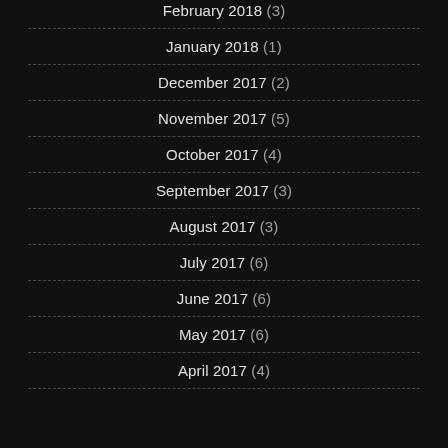February 2018 (3)
January 2018 (1)
December 2017 (2)
November 2017 (5)
October 2017 (4)
September 2017 (3)
August 2017 (3)
July 2017 (6)
June 2017 (6)
May 2017 (6)
April 2017 (4)